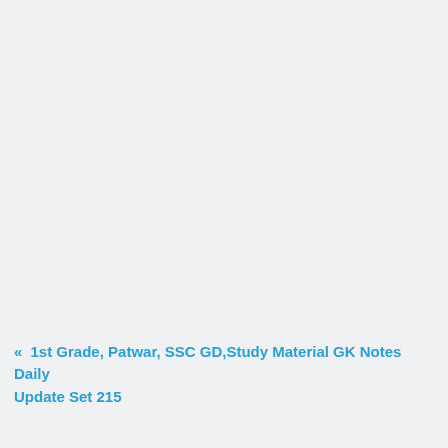« 1st Grade, Patwar, SSC GD,Study Material GK Notes Daily Update Set 215